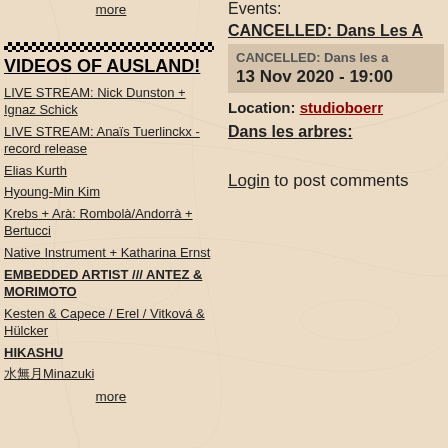more
VIDEOS OF AUSLAND!
LIVE STREAM: Nick Dunston + Ignaz Schick
LIVE STREAM: Anaïs Tuerlinckx - record release
Elias Kurth
Hyoung-Min Kim
Krebs + Arà: Rombolà/Andorrà + Bertucci
Native Instrument + Katharina Ernst
EMBEDDED ARTIST /// ANTEZ & MORIMOTO
Kesten & Capece / Erel / Vitková & Hülcker
HIKASHU
水無月Minazuki
more
Events:
CANCELLED: Dans Les A
CANCELLED: Dans les a
13 Nov 2020 - 19:00
Location: studioboerr
Dans les arbres:
Login to post comments